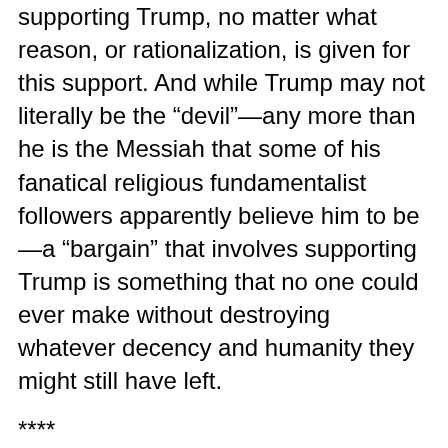supporting Trump, no matter what reason, or rationalization, is given for this support. And while Trump may not literally be the “devil”—any more than he is the Messiah that some of his fanatical religious fundamentalist followers apparently believe him to be—a “bargain” that involves supporting Trump is something that no one could ever make without destroying whatever decency and humanity they might still have left.
****
Support for the fascist enforcement of capitalist rule is, however, not the only form in which moral bankruptcy has been expressed in the political realm. This is also the case with those who have